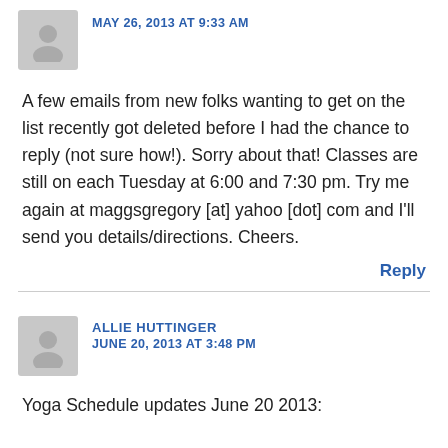MAY 26, 2013 AT 9:33 AM
A few emails from new folks wanting to get on the list recently got deleted before I had the chance to reply (not sure how!). Sorry about that! Classes are still on each Tuesday at 6:00 and 7:30 pm. Try me again at maggsgregory [at] yahoo [dot] com and I'll send you details/directions. Cheers.
Reply
ALLIE HUTTINGER
JUNE 20, 2013 AT 3:48 PM
Yoga Schedule updates June 20 2013: